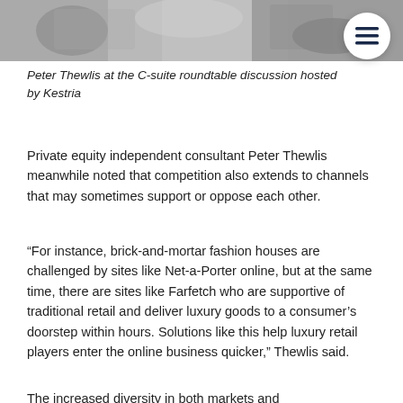[Figure (photo): Black and white photo of people at a roundtable discussion, partially visible at the top of the page]
Peter Thewlis at the C-suite roundtable discussion hosted by Kestria
Private equity independent consultant Peter Thewlis meanwhile noted that competition also extends to channels that may sometimes support or oppose each other.
“For instance, brick-and-mortar fashion houses are challenged by sites like Net-a-Porter online, but at the same time, there are sites like Farfetch who are supportive of traditional retail and deliver luxury goods to a consumer’s doorstep within hours. Solutions like this help luxury retail players enter the online business quicker,” Thewlis said.
The increased diversity in both markets and